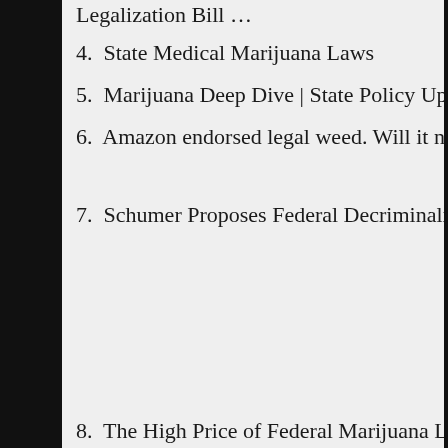Legalization Bill …
4.  State Medical Marijuana Laws
5.  Marijuana Deep Dive | State Policy Updates
6.  Amazon endorsed legal weed. Will it now fight to make it happen?
7.  Schumer Proposes Federal Decriminalization of Marijuana
8.  The High Price of Federal Marijuana Legalization…